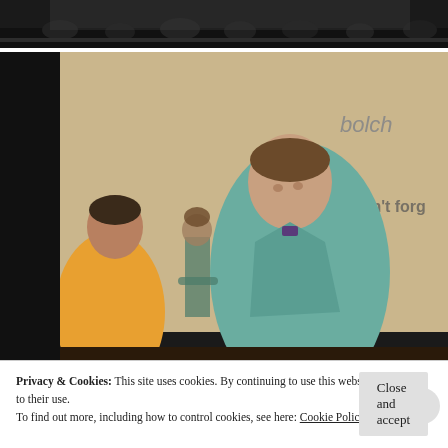[Figure (photo): Top portion of a photo showing a dark stage or auditorium scene, cropped at top.]
[Figure (photo): Photo of a man in a teal/green suit leaning over, with a woman in yellow dress and another person in background, in front of a projection screen showing text 'bolch' and 'Don't forg'.]
Privacy & Cookies: This site uses cookies. By continuing to use this website, you agree to their use.
To find out more, including how to control cookies, see here: Cookie Policy
Close and accept